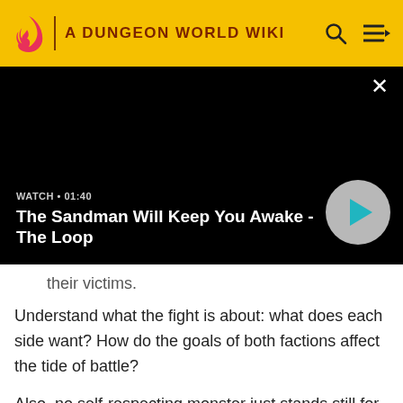A DUNGEON WORLD WIKI
[Figure (screenshot): Black video player panel with close button, watch label '01:40', video title 'The Sandman Will Keep You Awake - The Loop', and a circular play button]
their victims.
Understand what the fight is about: what does each side want? How do the goals of both factions affect the tide of battle?
Also, no self-respecting monster just stands still for their